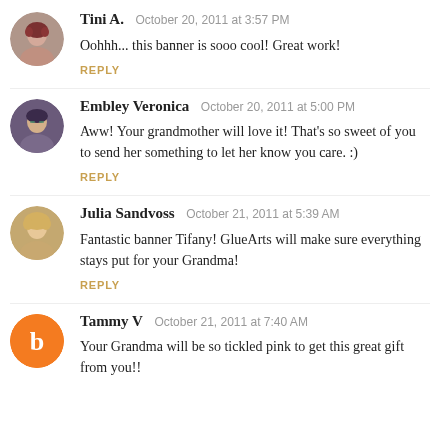Tini A.  October 20, 2011 at 3:57 PM
Oohhh... this banner is sooo cool! Great work!
REPLY
Embley Veronica  October 20, 2011 at 5:00 PM
Aww! Your grandmother will love it! That's so sweet of you to send her something to let her know you care. :)
REPLY
Julia Sandvoss  October 21, 2011 at 5:39 AM
Fantastic banner Tifany! GlueArts will make sure everything stays put for your Grandma!
REPLY
Tammy V  October 21, 2011 at 7:40 AM
Your Grandma will be so tickled pink to get this great gift from you!!